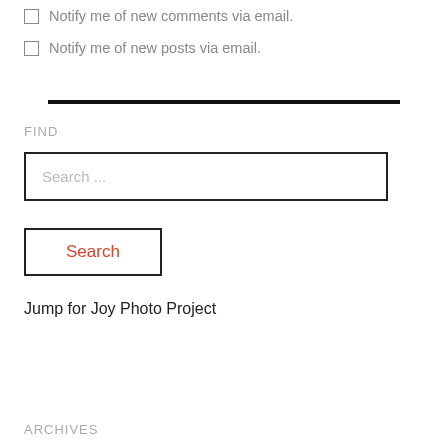Notify me of new comments via email.
Notify me of new posts via email.
FIND
Search ...
Search
Jump for Joy Photo Project
ARCHIVES